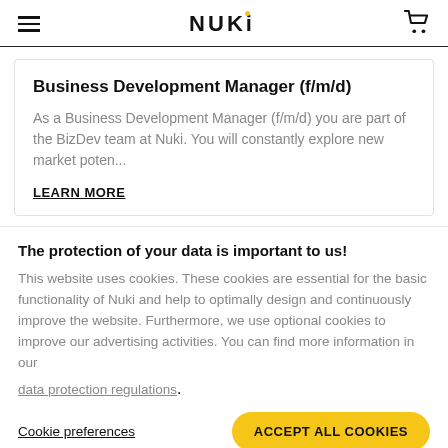NUKI
Business Development Manager (f/m/d)
As a Business Development Manager (f/m/d) you are part of the BizDev team at Nuki. You will constantly explore new market poten...
LEARN MORE
The protection of your data is important to us!
This website uses cookies. These cookies are essential for the basic functionality of Nuki and help to optimally design and continuously improve the website. Furthermore, we use optional cookies to improve our advertising activities. You can find more information in our
data protection regulations.
Cookie preferences
ACCEPT ALL COOKIES